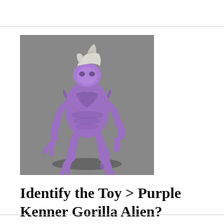[Figure (photo): A purple Kenner Gorilla Alien action figure toy posed in a crouching position against a gray background. The figure has a white/silver crest on its head, purple body with detailed alien musculature, clawed hands, and a tail.]
Identify the Toy > Purple Kenner Gorilla Alien?